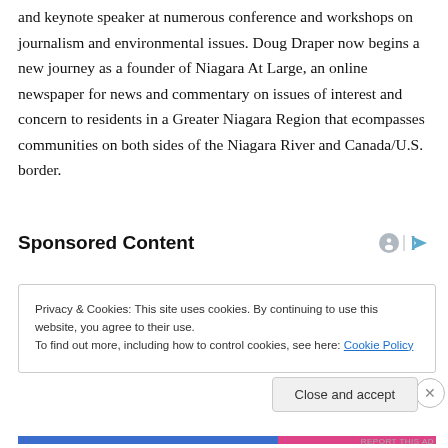and keynote speaker at numerous conference and workshops on journalism and environmental issues. Doug Draper now begins a new journey as a founder of Niagara At Large, an online newspaper for news and commentary on issues of interest and concern to residents in a Greater Niagara Region that ecompasses communities on both sides of the Niagara River and Canada/U.S. border.
Sponsored Content
Privacy & Cookies: This site uses cookies. By continuing to use this website, you agree to their use.
To find out more, including how to control cookies, see here: Cookie Policy